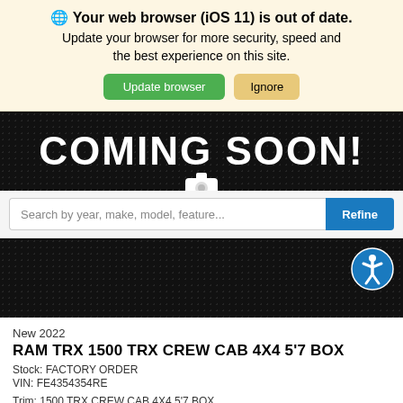🌐 Your web browser (iOS 11) is out of date. Update your browser for more security, speed and the best experience on this site.
Update browser
Ignore
[Figure (photo): Dark textured background with 'Coming Soon!' text in large white bold uppercase letters, with a partial camera icon at the bottom]
Search by year, make, model, feature...
Refine
[Figure (photo): Dark dotted/textured background (vehicle listing image placeholder) with a circular blue accessibility icon in the top right corner]
New 2022
RAM TRX 1500 TRX CREW CAB 4X4 5'7 BOX
Stock: FACTORY ORDER
VIN: FE4354354RE
Trim: 1500 TRX CREW CAB 4X4 5'7 BOX
Exterior: Granite Crystal Met. Clear Coat